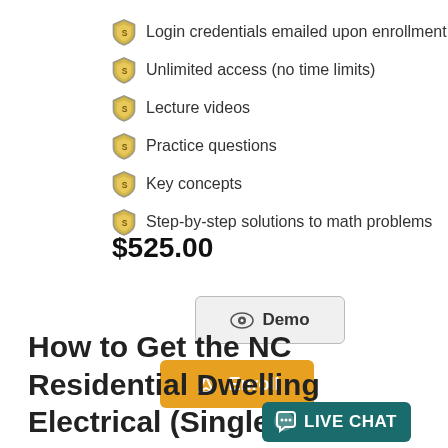Login credentials emailed upon enrollment
Unlimited access (no time limits)
Lecture videos
Practice questions
Key concepts
Step-by-step solutions to math problems
$525.00
[Figure (screenshot): Demo button with eye icon]
[Figure (screenshot): Enroll button with arrow icon]
How to Get the NC Residential Dwelling Electrical (Single Family) License?
[Figure (infographic): Live Chat button overlay]